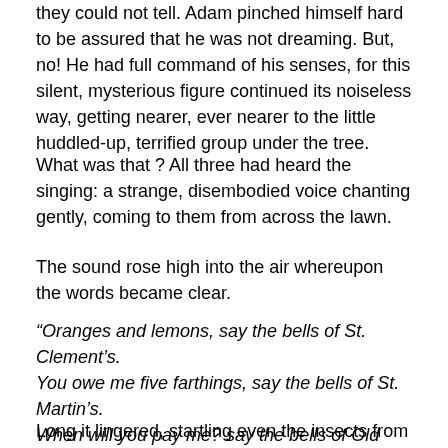they could not tell. Adam pinched himself hard to be assured that he was not dreaming. But, no! He had full command of his senses, for this silent, mysterious figure continued its noiseless way, getting nearer, ever nearer to the little huddled-up, terrified group under the tree.
What was that ? All three had heard the singing: a strange, disembodied voice chanting gently, coming to them from across the lawn.
The sound rose high into the air whereupon the words became clear.
“Oranges and lemons, say the bells of St. Clement’s. You owe me five farthings, say the bells of St. Martin’s. When will you pay me? say the bells of Old Bailey…”
Long it lingered, startling even the insects from the